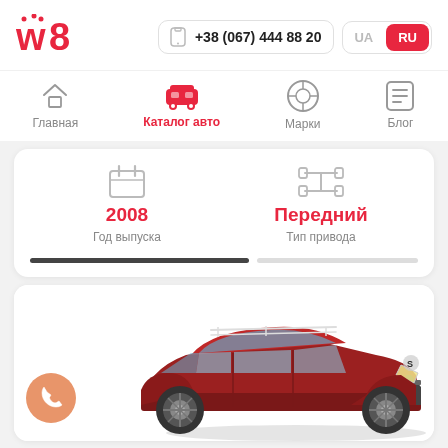[Figure (logo): w8 logo in red/pink]
+38 (067) 444 88 20
UA  RU
Главная
Каталог авто
Марки
Блог
2008
Год выпуска
Передний
Тип привода
[Figure (photo): Red Suzuki Grand Vitara SUV photo]